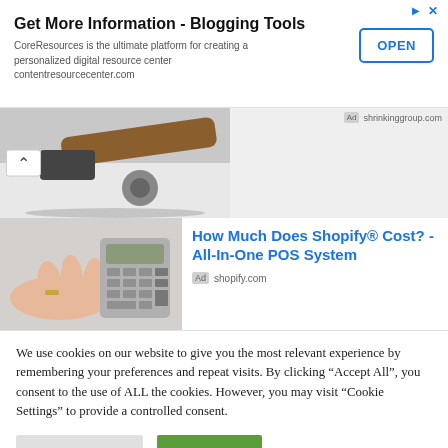[Figure (screenshot): Advertisement banner: 'Get More Information - Blogging Tools' with OPEN button]
[Figure (photo): Middle section showing hammer and tools image with up chevron navigation button]
[Figure (screenshot): Shopify advertisement: 'How Much Does Shopify® Cost? - All-In-One POS System' with calculator hand image, Ad shopify.com]
We use cookies on our website to give you the most relevant experience by remembering your preferences and repeat visits. By clicking "Accept All", you consent to the use of ALL the cookies. However, you may visit "Cookie Settings" to provide a controlled consent.